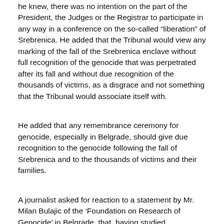he knew, there was no intention on the part of the President, the Judges or the Registrar to participate in any way in a conference on the so-called "liberation" of Srebrenica. He added that the Tribunal would view any marking of the fall of the Srebrenica enclave without full recognition of the genocide that was perpetrated after its fall and without due recognition of the thousands of victims, as a disgrace and not something that the Tribunal would associate itself with.
He added that any remembrance ceremony for genocide, especially in Belgrade, should give due recognition to the genocide following the fall of Srebrenica and to the thousands of victims and their families.
A journalist asked for reaction to a statement by Mr. Milan Bulajic of the 'Foundation on Research of Genocide' in Belgrade, that, having studied documentation produced by the UN, and the